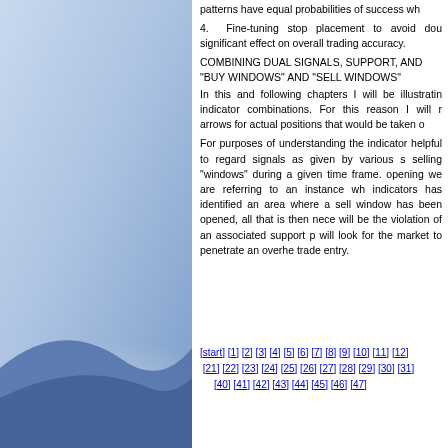patterns have equal probabilities of success wh
4. Fine-tuning stop placement to avoid dou significant effect on overall trading accuracy.
COMBINING DUAL SIGNALS, SUPPORT, AND
"BUY WINDOWS" AND "SELL WINDOWS"
In this and following chapters I will be illustratin indicator combinations. For this reason I will r arrows for actual positions that would be taken o
For purposes of understanding the indicator helpful to regard signals as given by various s selling "windows" during a given time frame. opening we are referring to an instance wh indicators has identified an area where a sell window has been opened, all that is then nece will be the violation of an associated support p will look for the market to penetrate an overhe trade entry.
[start] [1] [2] [3] [4] [5] [6] [7] [8] [9] [10] [11] [12] [21] [22] [23] [24] [25] [26] [27] [28] [29] [30] [31] [40] [41] [42] [43] [44] [45] [46] [47]